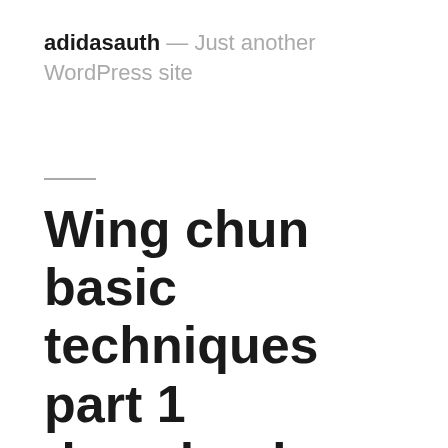adidasauth — Just another WordPress site
Wing chun basic techniques part 1 download free.Wing Chun Basic Techniques part 1 | Wing chun, Wing chun martial arts